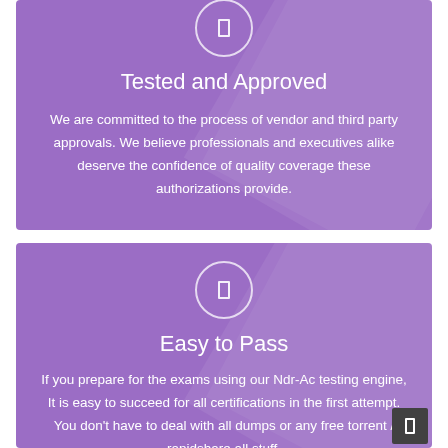[Figure (illustration): Circular icon with a rectangular symbol inside, on purple background]
Tested and Approved
We are committed to the process of vendor and third party approvals. We believe professionals and executives alike deserve the confidence of quality coverage these authorizations provide.
[Figure (illustration): Circular icon with a rectangular symbol inside, on purple background]
Easy to Pass
If you prepare for the exams using our Ndr-Ac testing engine, It is easy to succeed for all certifications in the first attempt. You don't have to deal with all dumps or any free torrent / rapidshare all stuff.